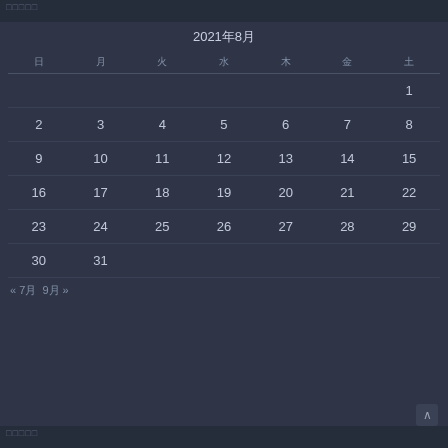□□□□□
2021年8月
| 日 | 月 | 火 | 水 | 木 | 金 | 土 |
| --- | --- | --- | --- | --- | --- | --- |
|  |  |  |  |  |  | 1 |
| 2 | 3 | 4 | 5 | 6 | 7 | 8 |
| 9 | 10 | 11 | 12 | 13 | 14 | 15 |
| 16 | 17 | 18 | 19 | 20 | 21 | 22 |
| 23 | 24 | 25 | 26 | 27 | 28 | 29 |
| 30 | 31 |  |  |  |  |  |
« 7月  9月 »
□□□□□